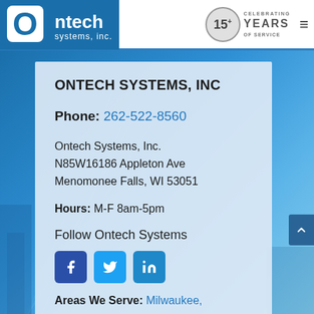[Figure (logo): Ontech Systems Inc. logo — white square with rounded corners containing a blue O, text 'ntech' and 'systems, inc.' on blue background]
[Figure (infographic): 15+ Celebrating Years of Service badge — gray circle with 15+ text next to stacked text CELEBRATING YEARS OF SERVICE]
ONTECH SYSTEMS, INC
Phone: 262-522-8560
Ontech Systems, Inc.
N85W16186 Appleton Ave
Menomonee Falls, WI 53051
Hours: M-F 8am-5pm
Follow Ontech Systems
[Figure (infographic): Three social media icon buttons: Facebook (dark blue), Twitter (light blue), LinkedIn (blue)]
Areas We Serve: Milwaukee,